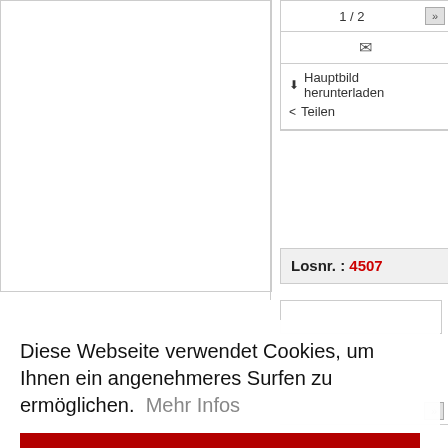1 / 2
✉
⬇ Hauptbild herunterladen
< Teilen
Losnr. : 4507
Diese Webseite verwendet Cookies, um Ihnen ein angenehmeres Surfen zu ermöglichen.  Mehr Infos
Ok